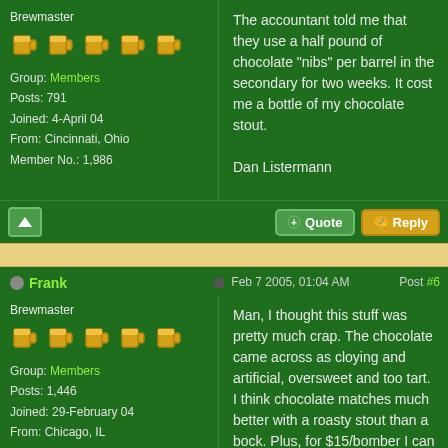Brewmaster
Group: Members
Posts: 791
Joined: 4-April 04
From: Cincinnati, Ohio
Member No.: 1,986
The accountant told me that they use a half pound of chocolate "nibs" per barrel in the secondary for two weeks. It cost me a bottle of my chocolate stout.

Dan Listermann
Frank
Feb 7 2005, 01:04 AM
Post #6
Brewmaster
Group: Members
Posts: 1,446
Joined: 29-February 04
From: Chicago, IL
Member No.: 1,815
Man, I thought this stuff was pretty much crap. The chocolate came across as cloying and artificial, oversweet and too tart. I think chocolate matches much better with a roasty stout than a bock. Plus, for $15/bomber I can get way, way better.